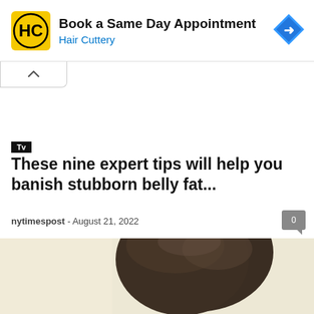[Figure (other): Hair Cuttery advertisement banner with yellow logo, 'Book a Same Day Appointment' headline, blue 'Hair Cuttery' subtext, and a blue diamond navigation arrow on the right]
Tv
These nine expert tips will help you banish stubborn belly fat...
nytimespost - August 21, 2022
[Figure (photo): Partial photo of a person's head with dark hair, cropped at the bottom of the page]